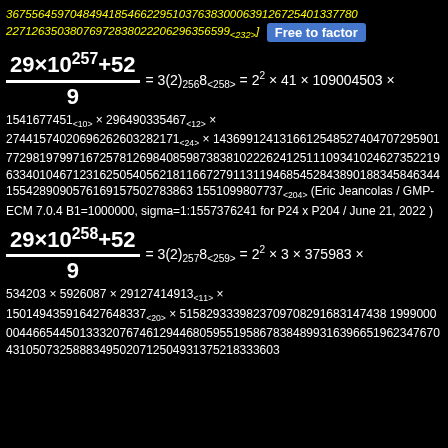367556459704849418546622951037638300063912672540133778022712635038076972838022206296356599<232>] Free to factor